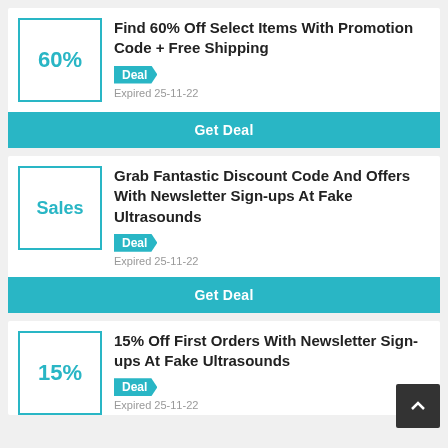Find 60% Off Select Items With Promotion Code + Free Shipping
Deal
Expired 25-11-22
Get Deal
Grab Fantastic Discount Code And Offers With Newsletter Sign-ups At Fake Ultrasounds
Deal
Expired 25-11-22
Get Deal
15% Off First Orders With Newsletter Sign-ups At Fake Ultrasounds
Deal
Expired 25-11-22